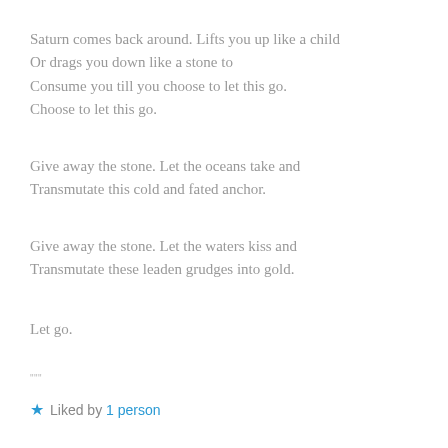Saturn comes back around. Lifts you up like a child
Or drags you down like a stone to
Consume you till you choose to let this go.
Choose to let this go.
Give away the stone. Let the oceans take and
Transmutate this cold and fated anchor.
Give away the stone. Let the waters kiss and
Transmutate these leaden grudges into gold.
Let go.
"""
★ Liked by 1 person